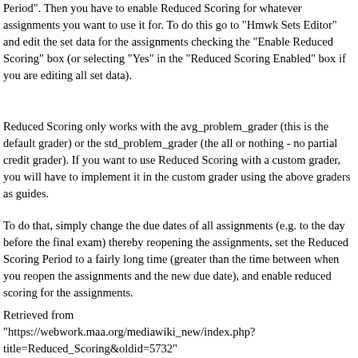Period". Then you have to enable Reduced Scoring for whatever assignments you want to use it for. To do this go to "Hmwk Sets Editor" and edit the set data for the assignments checking the "Enable Reduced Scoring" box (or selecting "Yes" in the "Reduced Scoring Enabled" box if you are editing all set data).
Reduced Scoring only works with the avg_problem_grader (this is the default grader) or the std_problem_grader (the all or nothing - no partial credit grader). If you want to use Reduced Scoring with a custom grader, you will have to implement it in the custom grader using the above graders as guides.
To do that, simply change the due dates of all assignments (e.g. to the day before the final exam) thereby reopening the assignments, set the Reduced Scoring Period to a fairly long time (greater than the time between when you reopen the assignments and the new due date), and enable reduced scoring for the assignments.
Retrieved from "https://webwork.maa.org/mediawiki_new/index.php?title=Reduced_Scoring&oldid=5732"